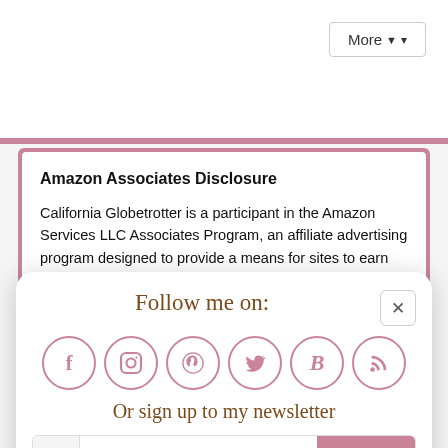More ▾
Amazon Associates Disclosure
California Globetrotter is a participant in the Amazon Services LLC Associates Program, an affiliate advertising program designed to provide a means for sites to earn advertising fees by advertising and linking to...
Follow me on:
[Figure (infographic): Social media icons in circles: Facebook (f), Instagram, Pinterest, Twitter, Bloglovin (B), RSS feed]
Or sign up to my newsletter
Subscribe  Sign Up!
[Figure (illustration): Gold seal/badge at bottom center]